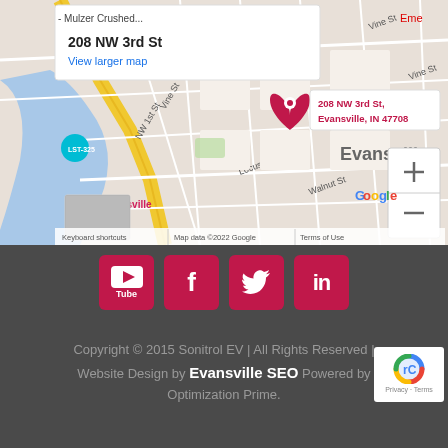[Figure (map): Google Maps embed showing 208 NW 3rd St, Evansville, IN 47708. Map shows downtown Evansville area with streets including Vine St, Walnut St, Locust St. Notable landmarks include Bally's Evansville and 2nd Language. Red map pin at 208 NW 3rd St location. Zoom controls visible. Bottom bar shows: Keyboard shortcuts | Map data ©2022 Google | Terms of Use. Top info box shows address 208 NW 3rd St and View larger map link.]
[Figure (infographic): Social media icon buttons: YouTube, Facebook, Twitter, LinkedIn — all in dark red/crimson rounded square buttons]
Copyright © 2015 Sonitrol EV | All Rights Reserved | Website Design by Evansville SEO Powered by Optimization Prime.